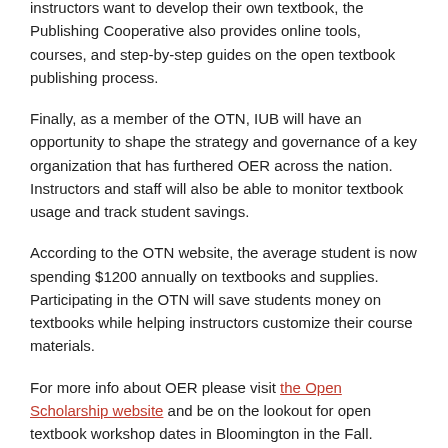instructors want to develop their own textbook, the Publishing Cooperative also provides online tools, courses, and step-by-step guides on the open textbook publishing process.
Finally, as a member of the OTN, IUB will have an opportunity to shape the strategy and governance of a key organization that has furthered OER across the nation. Instructors and staff will also be able to monitor textbook usage and track student savings.
According to the OTN website, the average student is now spending $1200 annually on textbooks and supplies. Participating in the OTN will save students money on textbooks while helping instructors customize their course materials.
For more info about OER please visit the Open Scholarship website and be on the lookout for open textbook workshop dates in Bloomington in the Fall.